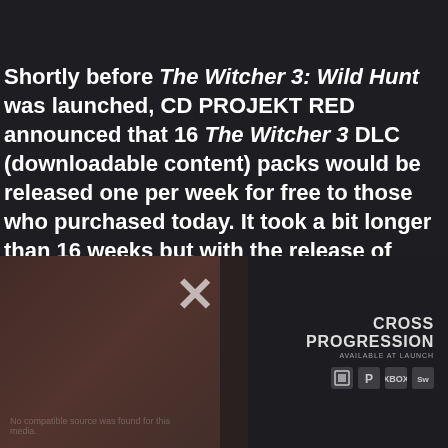Shortly before The Witcher 3: Wild Hunt was launched, CD PROJEKT RED announced that 16 The Witcher 3 DLC (downloadable content) packs would be released one per week for free to those who purchased today. It took a bit longer than 16 weeks but with the release of today's new Game+ mode DLC all 16 DLC packs are available on all systems the game is playable on.
“We’ve been releasing free DLCs since launch, and today’s release of New
[Figure (screenshot): Partially visible screenshot showing a game promotional image with a faded character on the left, an X symbol in the center, and CROSS PROGRESSION AVAILABLE AT LAUNCH text on the right with platform icons (PC, PlayStation, Xbox, Nintendo Switch). There is also a greyed-out overlay text reading 'No compatible source was found for this media.']